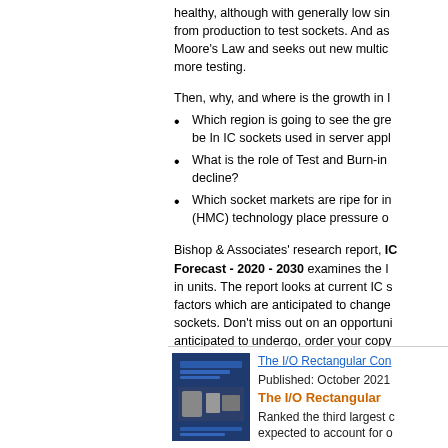healthy, although with generally low sin... from production to test sockets. And as... Moore's Law and seeks out new multic... more testing.
Then, why, and where is the growth in I...
Which region is going to see the gre... be In IC sockets used in server appl...
What is the role of Test and Burn-in... decline?
Which socket markets are ripe for in... (HMC) technology place pressure o...
Bishop & Associates' research report, IC Forecast - 2020 - 2030 examines the I... in units. The report looks at current IC s... factors which are anticipated to change... sockets. Don't miss out on an opportuni... anticipated to undergo, order your copy...
[Figure (photo): Book cover of The I/O Rectangular Connector Market report, showing connector products on dark blue background, by Bishop & Associates]
The I/O Rectangular Con...
Published: October 2021
The I/O Rectangular...
Ranked the third largest c... expected to account for o...